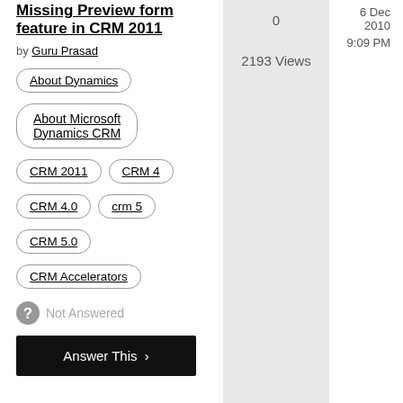Missing Preview form feature in CRM 2011
by Guru Prasad
About Dynamics
About Microsoft Dynamics CRM
CRM 2011
CRM 4
CRM 4.0
crm 5
CRM 5.0
CRM Accelerators
0
2193 Views
6 Dec 2010
9:09 PM
Not Answered
Answer This >